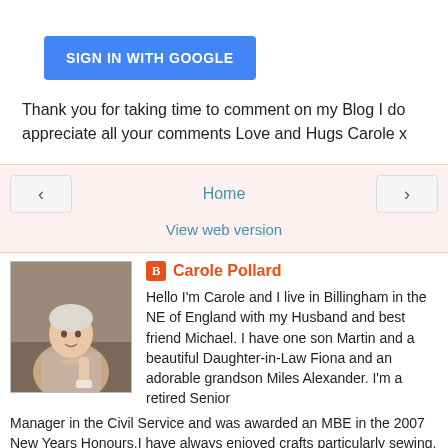[Figure (other): Blue 'Sign in with Google' button]
Thank you for taking time to comment on my Blog I do appreciate all your comments Love and Hugs Carole x
[Figure (other): Navigation row with left arrow, Home link in center, right arrow]
View web version
[Figure (photo): Photo of Carole Pollard, an elderly woman]
Carole Pollard
Hello I'm Carole and I live in Billingham in the NE of England with my Husband and best friend Michael. I have one son Martin and a beautiful Daughter-in-Law Fiona and an adorable grandson Miles Alexander. I'm a retired Senior Manager in the Civil Service and was awarded an MBE in the 2007 New Years Honours.I have always enjoyed crafts particularly sewing, cross stitch and scrapbooking. After I retired I joined a great craft group that meet on a Thursday morning and I'm now addicted to card making and stamping.